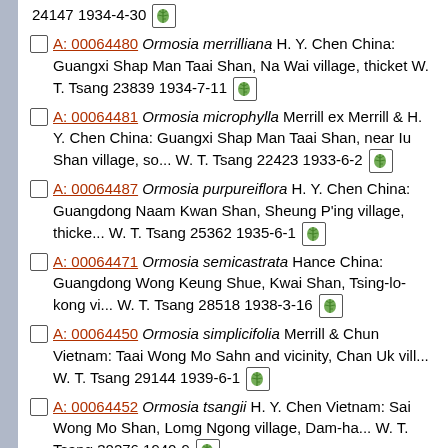24147 1934-4-30 [leaf icon]
A: 00064480 Ormosia merrilliana H. Y. Chen China: Guangxi Shap Man Taai Shan, Na Wai village, thicket W. T. Tsang 23839 1934-7-11 [leaf icon]
A: 00064481 Ormosia microphylla Merrill ex Merrill & H. Y. Chen China: Guangxi Shap Man Taai Shan, near Iu Shan village, so... W. T. Tsang 22423 1933-6-2 [leaf icon]
A: 00064487 Ormosia purpureiflora H. Y. Chen China: Guangdong Naam Kwan Shan, Sheung P'ing village, thicke... W. T. Tsang 25362 1935-6-1 [leaf icon]
A: 00064471 Ormosia semicastrata Hance China: Guangdong Wong Keung Shue, Kwai Shan, Tsing-lo-kong vi... W. T. Tsang 28518 1938-3-16 [leaf icon]
A: 00064450 Ormosia simplicifolia Merrill & Chun Vietnam: Taai Wong Mo Sahn and vicinity, Chan Uk vill... W. T. Tsang 29144 1939-6-1 [leaf icon]
A: 00064452 Ormosia tsangii H. Y. Chen Vietnam: Sai Wong Mo Shan, Lomg Ngong village, Dam-ha... W. T. Tsang 30276 1940-9 [leaf icon]